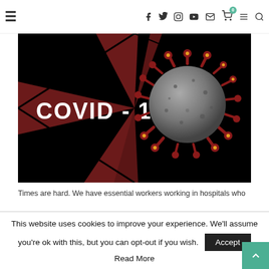Navigation bar with hamburger menu, social icons (Facebook, Twitter, Instagram, YouTube, Mail), cart (0), menu, search
[Figure (illustration): COVID-19 banner image: dark background with deep red X/cross logo on left, 3D rendered coronavirus particle on the right, bold white text 'COVID - 19' overlaid on the left side]
Times are hard. We have essential workers working in hospitals who
This website uses cookies to improve your experience. We'll assume you're ok with this, but you can opt-out if you wish.
Read More